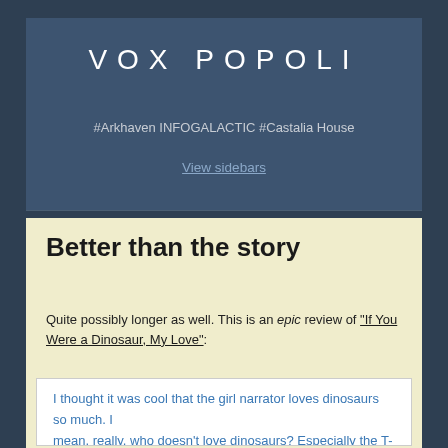VOX POPOLI
#Arkhaven INFOGALACTIC #Castalia House
View sidebars
Better than the story
Quite possibly longer as well. This is an epic review of "If You Were a Dinosaur, My Love":
I thought it was cool that the girl narrator loves dinosaurs so much. I mean, really, who doesn't love dinosaurs? Especially the T-Rex. The Biggest, Meanest Big Bad of the Big Bads. Awesome. Well, ok